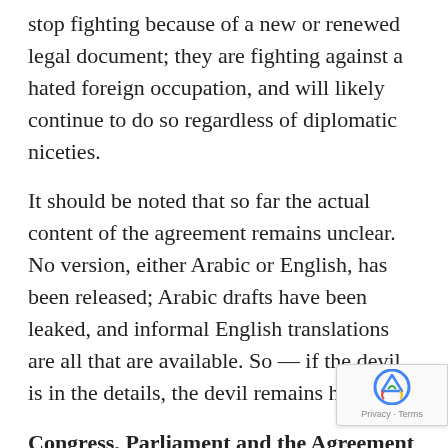stop fighting because of a new or renewed legal document; they are fighting against a hated foreign occupation, and will likely continue to do so regardless of diplomatic niceties.
It should be noted that so far the actual content of the agreement remains unclear. No version, either Arabic or English, has been released; Arabic drafts have been leaked, and informal English translations are all that are available. So — if the devil is in the details, the devil remains hidden.
Congress, Parliament and the Agreement
The agreement has not been submitted to Iraq's parliament, as its constitution requires, and has not been submitted to the Senate for ratification, as the U.S. constitution requires. In fact, on the Iraqi side, even leaders of Maliki's own party distanced themselves from the agreement, while